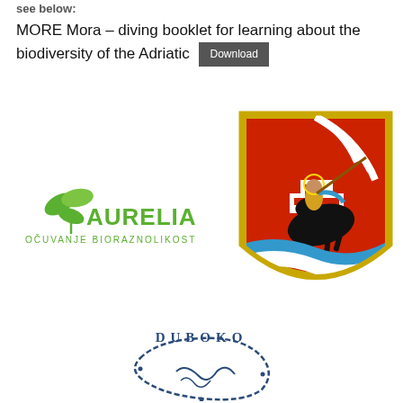see below:
MORE Mora – diving booklet for learning about the biodiversity of the Adriatic [Download]
[Figure (logo): Aurelia Ocuvanje Bioraznolikosti logo with green leaves and text]
[Figure (logo): Croatian coat of arms / city crest: knight on horseback, red and white shield, red background, blue waves at bottom]
[Figure (logo): Duboko logo: circular rope/octopus tentacle design with text DUBOKO]